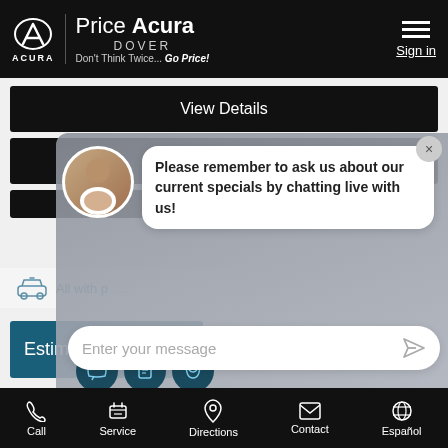[Figure (screenshot): Price Acura Dover dealership mobile website screenshot with chat overlay. Header shows Acura logo, Price Acura Dover branding with tagline. Page shows View Details, Value Your Trade buttons, chat widget with agent photo and message bubble, Enter your message input, and footer navigation.]
Price Acura DOVER - Don't Think Twice...Go Price! - Sign in
View Details
Value Your Trade
All with no
Please remember to ask us about our current specials by chatting live with us!
Estimate financ[e]
Enter your message
Call  Service  Directions  Contact  Español